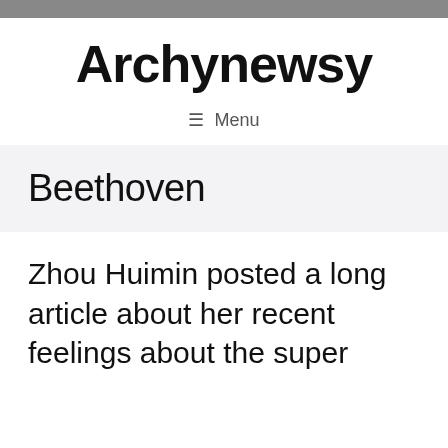Archynewsy
≡ Menu
Beethoven
Zhou Huimin posted a long article about her recent feelings about the super